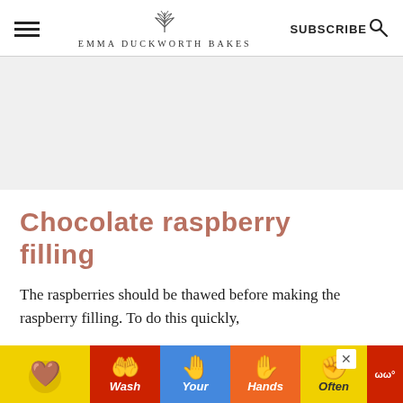EMMA DUCKWORTH BAKES | SUBSCRIBE
[Figure (other): Gray advertisement placeholder area]
Chocolate raspberry filling
The raspberries should be thawed before making the raspberry filling. To do this quickly, you can place them in a microwave-safe bowl and microwave on high for 30 seconds at a time, stirring between each burst, until thawed. Place the raspberries, sugar, and cornstarch in a small saucepan over medium heat and cook, stirring constantly, until the mixture thickens and starts to bubble. Remove from heat and stir in lemon juice. Allow to cool completely before using.
[Figure (illustration): Bottom advertisement banner with hand-washing public health ad showing colorful hand icons labeled Wash, Your, Hands, Often in red, blue, orange, and yellow sections]